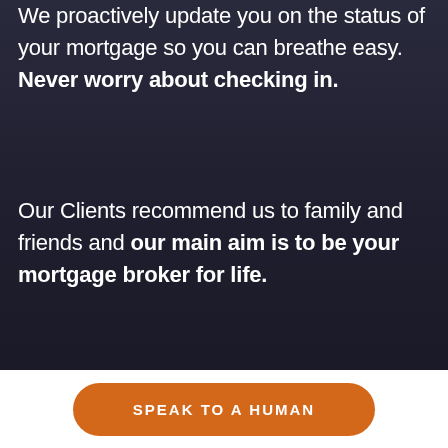We proactively update you on the status of your mortgage so you can breathe easy. Never worry about checking in.
Our Clients recommend us to family and friends and our main aim is to be your mortgage broker for life.
SPEAK TO A HUMAN